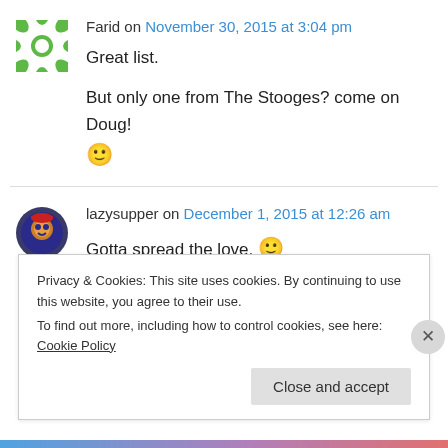Farid on November 30, 2015 at 3:04 pm
Great list.

But only one from The Stooges? come on Doug! 🙂
lazysupper on December 1, 2015 at 12:26 am
Gotta spread the love. 🙂
Privacy & Cookies: This site uses cookies. By continuing to use this website, you agree to their use.
To find out more, including how to control cookies, see here: Cookie Policy